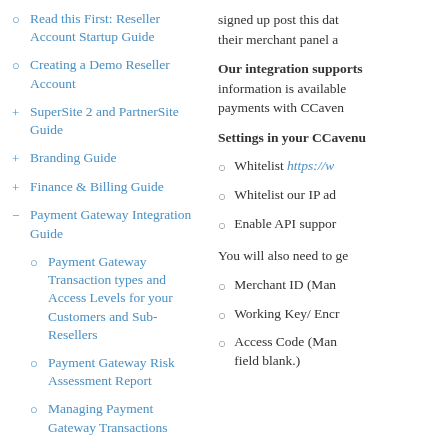○ Read this First: Reseller Account Startup Guide
○ Creating a Demo Reseller Account
+ SuperSite 2 and PartnerSite Guide
+ Branding Guide
+ Finance & Billing Guide
− Payment Gateway Integration Guide
○ Payment Gateway Transaction types and Access Levels for your Customers and Sub-Resellers
○ Payment Gateway Risk Assessment Report
○ Managing Payment Gateway Transactions
+ Integration with PayPal Gateway
signed up post this date their merchant panel a
Our integration supports information is available payments with CCaven
Settings in your CCavenu
○ Whitelist https://w
○ Whitelist our IP ad
○ Enable API suppor
You will also need to ge
○ Merchant ID (Man
○ Working Key/ Encr
○ Access Code (Man field blank.)